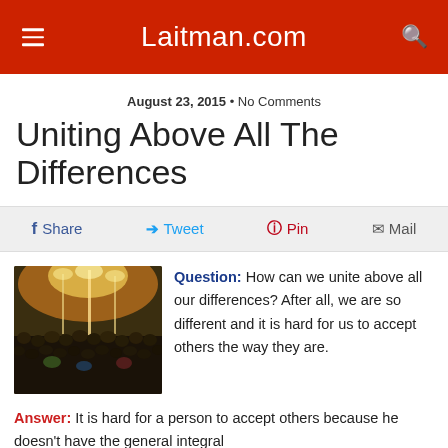Laitman.com
August 23, 2015 • No Comments
Uniting Above All The Differences
Share  Tweet  Pin  Mail
[Figure (photo): Large crowd of people gathered at an outdoor event at night, with bright lights overhead]
Question: How can we unite above all our differences? After all, we are so different and it is hard for us to accept others the way they are.
Answer: It is hard for a person to accept others because he doesn't have the general integral